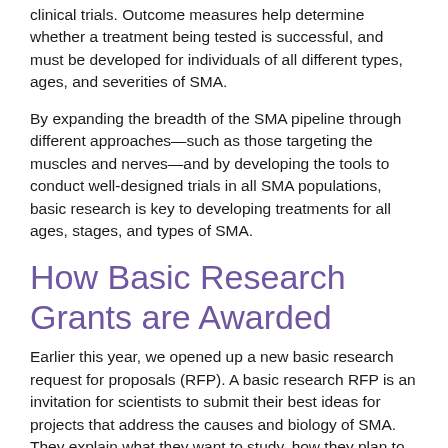clinical trials. Outcome measures help determine whether a treatment being tested is successful, and must be developed for individuals of all different types, ages, and severities of SMA.
By expanding the breadth of the SMA pipeline through different approaches—such as those targeting the muscles and nerves—and by developing the tools to conduct well-designed trials in all SMA populations, basic research is key to developing treatments for all ages, stages, and types of SMA.
How Basic Research Grants are Awarded
Earlier this year, we opened up a new basic research request for proposals (RFP). A basic research RFP is an invitation for scientists to submit their best ideas for projects that address the causes and biology of SMA. They explain what they want to study, how they plan to study it, and why they think it will help those affected by SMA.
Before this meeting, the SAF conducted all our grant...